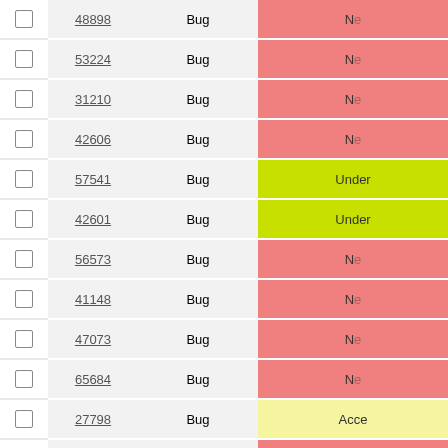|  | ID | Type | Status |
| --- | --- | --- | --- |
|  | 48898 | Bug | N... |
|  | 53224 | Bug | N... |
|  | 31210 | Bug | N... |
|  | 42606 | Bug | N... |
|  | 57541 | Bug | Under ... |
|  | 42601 | Bug | Under ... |
|  | 56573 | Bug | N... |
|  | 41148 | Bug | N... |
|  | 47073 | Bug | N... |
|  | 65684 | Bug | N... |
|  | 27798 | Bug | Acce... |
|  | 46066 | Bug | N... |
|  | 51312 | Bug | N... |
|  | 48430 | Bug | N... |
|  | 44244 | Bug | N... |